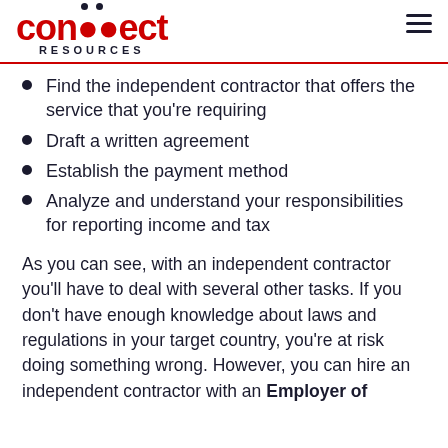connect RESOURCES
Find the independent contractor that offers the service that you're requiring
Draft a written agreement
Establish the payment method
Analyze and understand your responsibilities for reporting income and tax
As you can see, with an independent contractor you'll have to deal with several other tasks. If you don't have enough knowledge about laws and regulations in your target country, you're at risk doing something wrong. However, you can hire an independent contractor with an Employer of